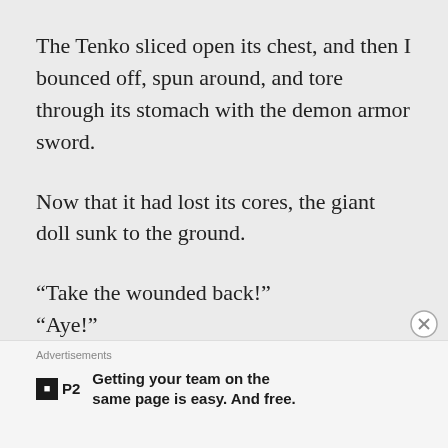The Tenko sliced open its chest, and then I bounced off, spun around, and tore through its stomach with the demon armor sword.
Now that it had lost its cores, the giant doll sunk to the ground.
“Take the wounded back!”
“Aye!”
I twirled the demon sword in my hand and
Advertisements
Getting your team on the same page is easy. And free.